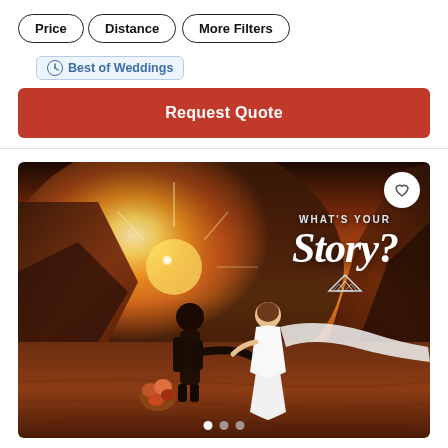Price
Distance
More Filters
Best of Weddings
Request Quote
[Figure (photo): Wedding couple walking hand-in-hand through red rock desert landscape at sunset with dramatic sun flare. Text overlay reads WHAT'S YOUR Story? with mountain logo. Bride in white dress with flowing veil, groom in dark suit. Heart/favorite button top right. Carousel dots at bottom.]